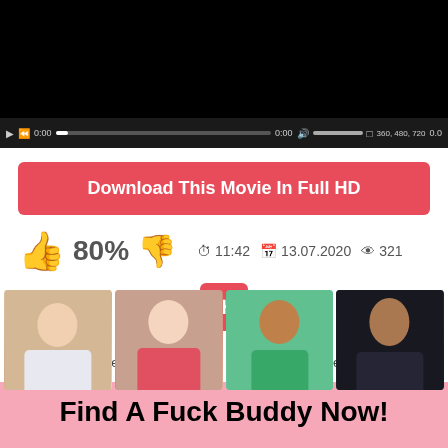[Figure (screenshot): Video player with black screen and controls bar showing play, rewind, 0:00 timestamp, progress bar, volume, quality options 360/480/720, and 0.0]
Download This Movie In Full HD
80%  ⊙ 11:42  📅 13.07.2020  👁 321
+
All models in this video are 18 years old or older. 2257
[Figure (photo): Four photos of women in a row]
Find A Fuck Buddy Now!